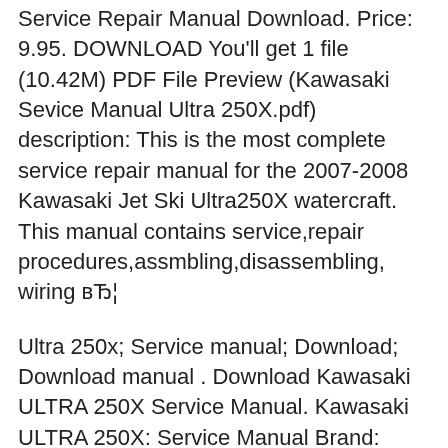Service Repair Manual Download. Price: 9.95. DOWNLOAD You'll get 1 file (10.42M) PDF File Preview (Kawasaki Sevice Manual Ultra 250X.pdf) description: This is the most complete service repair manual for the 2007-2008 Kawasaki Jet Ski Ultra250X watercraft. This manual contains service,repair procedures,assmbling,disassembling, wiring вЂ¦
Ultra 250x; Service manual; Download; Download manual . Download Kawasaki ULTRA 250X Service Manual. Kawasaki ULTRA 250X: Service Manual Brand: Kawasaki Category: Boat Size: 9.64 MB Pages: 477. This manual also for: Jet ski ultra lx. Please, tick the box below to